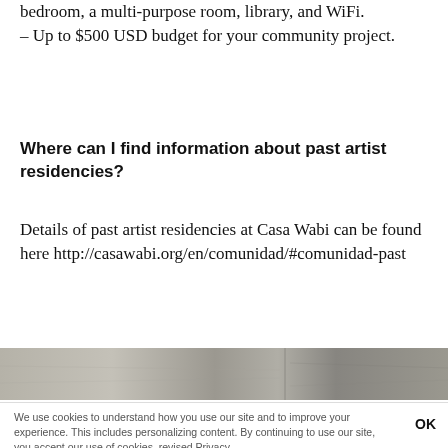bedroom, a multi-purpose room, library, and WiFi. – Up to $500 USD budget for your community project.
Where can I find information about past artist residencies?
Details of past artist residencies at Casa Wabi can be found here http://casawabi.org/en/comunidad/#comunidad-past
[Figure (photo): Horizontal strip of a concrete or stone surface, showing gray textured material.]
We use cookies to understand how you use our site and to improve your experience. This includes personalizing content. By continuing to use our site, you accept our use of cookies, revised Privacy.